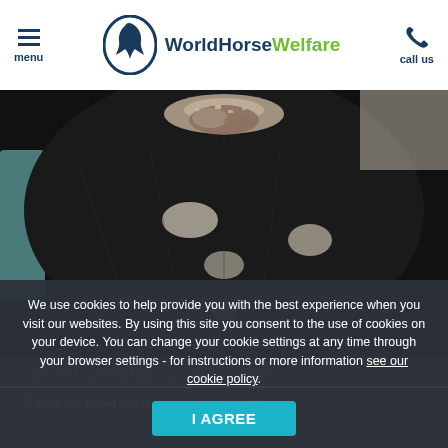menu | WorldHorseWelfare | call us
[Figure (photo): Close-up photograph of a dark horse's back showing skin condition with white scaly patches, likely sweet itch (pruritic dermatitis), visible flaking and hair loss along the topline/mane area.]
Gracie was suffering badly with sweet itch when...
We use cookies to help provide you with the best experience when you visit our websites. By using this site you consent to the use of cookies on your device. You can change your cookie settings at any time through your browser settings - for instructions or more information see our cookie policy.
I AGREE
Now her sweet itch is more successfully Gracie...